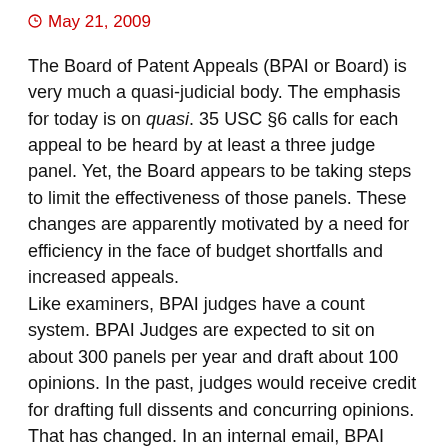May 21, 2009
The Board of Patent Appeals (BPAI or Board) is very much a quasi-judicial body. The emphasis for today is on quasi. 35 USC §6 calls for each appeal to be heard by at least a three judge panel. Yet, the Board appears to be taking steps to limit the effectiveness of those panels. These changes are apparently motivated by a need for efficiency in the face of budget shortfalls and increased appeals.
Like examiners, BPAI judges have a count system. BPAI Judges are expected to sit on about 300 panels per year and draft about 100 opinions. In the past, judges would receive credit for drafting full dissents and concurring opinions. That has changed. In an internal email, BPAI Vice-Chief Jay Moore has indicated that these extraneous opinions will no longer ordinarily garner any credit. According to Vice-Chief Judge Moore, "